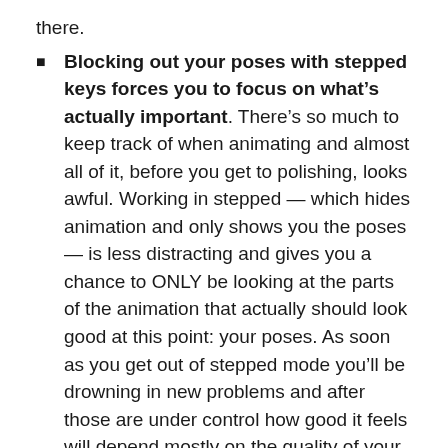there.
Blocking out your poses with stepped keys forces you to focus on what’s actually important. There’s so much to keep track of when animating and almost all of it, before you get to polishing, looks awful. Working in stepped — which hides animation and only shows you the poses — is less distracting and gives you a chance to ONLY be looking at the parts of the animation that actually should look good at this point: your poses. As soon as you get out of stepped mode you’ll be drowning in new problems and after those are under control how good it feels will depend mostly on the quality of your core poses. It’s so tempting to stop posing and start animating, especially as a novice. I suspect it gets easier with experience